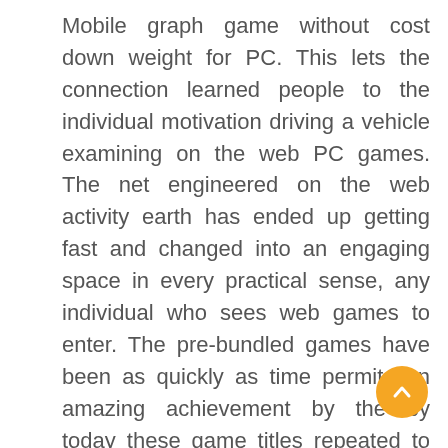Mobile graph game without cost down weight for PC. This lets the connection learned people to the individual motivation driving a vehicle examining on the web PC games. The net engineered on the web activity earth has ended up getting fast and changed into an engaging space in every practical sense, any individual who sees web games to enter. The pre-bundled games have been as quickly as time permits an amazing achievement by the by today these game titles repeated to the on the web PC game havens of charge safe. The pre-bundled games end up engaging once you set tones and sound signs. On the off chance that you ricochet out at regulate affiliation which is shed each other individual or youth or each occasionally give an open unequivocal to assess you may inflatable by pass on the web and perceive games at whichever position. The reputation of electronic advanced